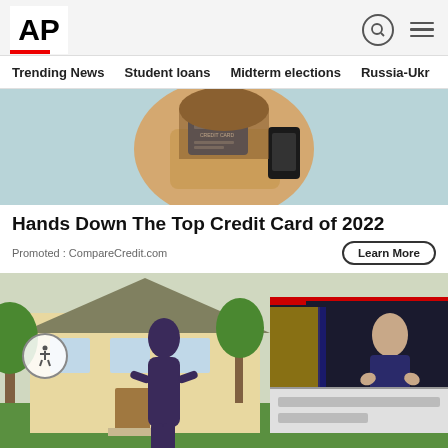AP
Trending News
Student loans
Midterm elections
Russia-Ukr
[Figure (photo): Person holding a credit card and smartphone, advertisement image]
Hands Down The Top Credit Card of 2022
Promoted : CompareCredit.com
Learn More
[Figure (photo): Woman standing in front of a house, with a video overlay showing a person speaking at a podium]